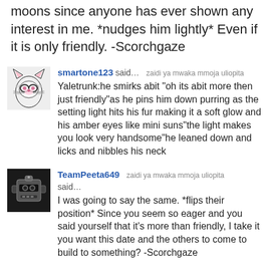moons since anyone has ever shown any interest in me. *nudges him lightly* Even if it is only friendly. -Scorchgaze
smartone123 said… zaidi ya mwaka mmoja uliopita
Yaletrunk:he smirks abit "oh its abit more then just friendly"as he pins him down purring as the setting light hits his fur making it a soft glow and his amber eyes like mini suns"the light makes you look very handsome"he leaned down and licks and nibbles his neck
TeamPeeta649 said… zaidi ya mwaka mmoja uliopita
I was going to say the same. *flips their position* Since you seem so eager and you said yourself that it's more than friendly, I take it you want this date and the others to come to build to something? -Scorchgaze
smartone123 said… zaidi ya mwaka mmoja uliopita
Yaletrunk: he was suprised and looks up